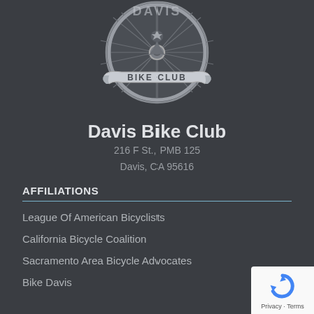[Figure (logo): Davis Bike Club logo — circular bicycle wheel emblem with a banner reading 'BIKE CLUB' and a cyclist silhouette, rendered in silver/gray tones on dark background]
Davis Bike Club
216 F St., PMB 125
Davis, CA 95616
AFFILIATIONS
League Of American Bicyclists
California Bicycle Coalition
Sacramento Area Bicycle Advocates
Bike Davis